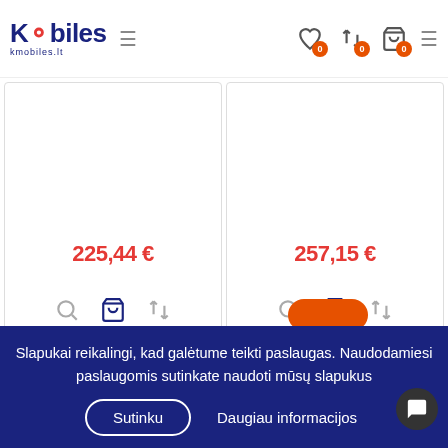[Figure (screenshot): Kmobiles website header with logo, hamburger menu, heart icon with badge 0, compare icon with badge 0, cart icon with badge 0, and menu icon]
225,44 €
257,15 €
[Figure (screenshot): Two product cards showing prices 225,44 € and 257,15 € with search, cart, and compare icons]
1  2  3  ...  7  >
Slapukai reikalingi, kad galėtume teikti paslaugas. Naudodamiesi paslaugomis sutinkate naudoti mūsų slapukus
Sutinku
Daugiau informacijos